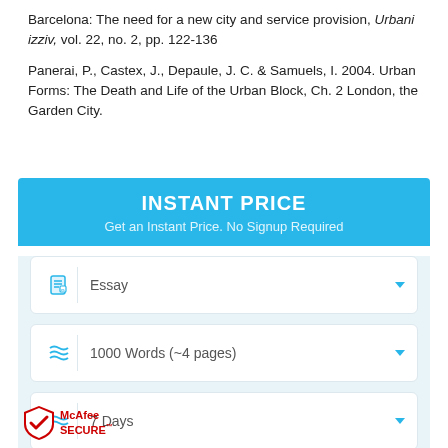Barcelona: The need for a new city and service provision, Urbani izziv, vol. 22, no. 2, pp. 122-136
Panerai, P., Castex, J., Depaule, J. C. & Samuels, I. 2004. Urban Forms: The Death and Life of the Urban Block, Ch. 2 London, the Garden City.
[Figure (screenshot): Instant Price widget with blue header showing 'INSTANT PRICE' and subtitle 'Get an Instant Price. No Signup Required', with three dropdown fields: Essay, 1000 Words (~4 pages), 7 Days]
[Figure (logo): McAfee SECURE badge at bottom left]